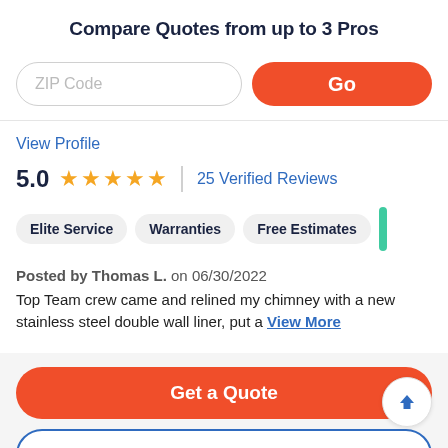Compare Quotes from up to 3 Pros
[Figure (screenshot): ZIP Code input field and orange Go button]
View Profile
5.0  ★★★★★  |  25 Verified Reviews
Elite Service   Warranties   Free Estimates
Posted by Thomas L. on 06/30/2022
Top Team crew came and relined my chimney with a new stainless steel double wall liner, put a View More
Get a Quote
Pricing & Schedule